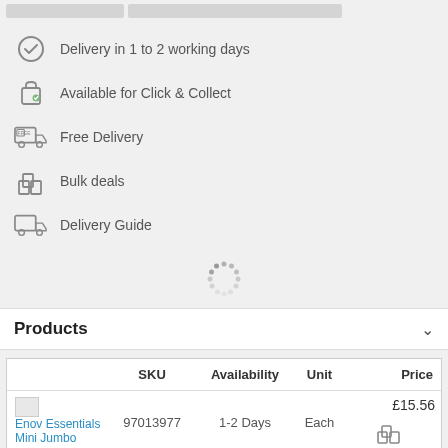Delivery in 1 to 2 working days
Available for Click & Collect
Free Delivery
Bulk deals
Delivery Guide
Products
|  | SKU | Availability | Unit | Price |
| --- | --- | --- | --- | --- |
| Enov Essentials Mini Jumbo | 97013977 | 1-2 Days | Each | £15.56 |